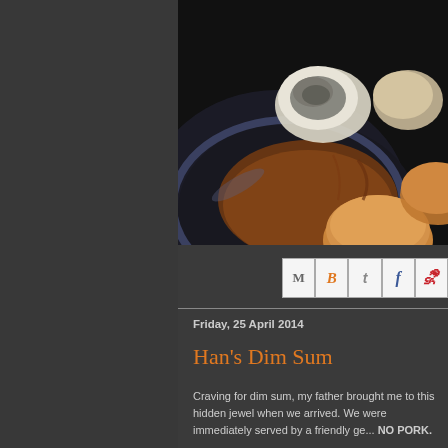[Figure (photo): Close-up photo of dim sum dish on dark plate with sauce, showing dumpling/bun items, on dark background]
[Figure (infographic): Social share buttons row: Email (M), Blogger (B), Twitter (t), Facebook (f), Pinterest (P)]
Friday, 25 April 2014
Han's Dim Sum
Craving for dim sum, my father brought me to this hidden jewel when we arrived. We were immediately served by a friendly ge... NO PORK.